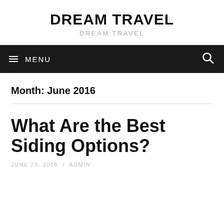DREAM TRAVEL
DREAM TRAVEL
≡ MENU
Month: June 2016
What Are the Best Siding Options?
JUNE 29, 2016 / ADMIN